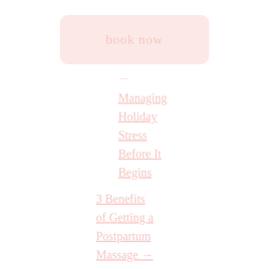book now
—
Managing Holiday Stress Before It Begins
3 Benefits of Getting a Postpartum Massage →